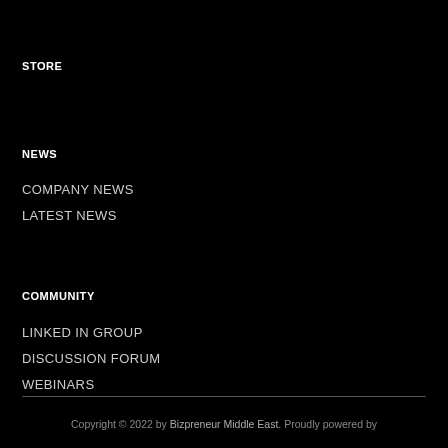STORE
NEWS
COMPANY NEWS
LATEST NEWS
COMMUNITY
LINKED IN GROUP
DISCUSSION FORUM
WEBINARS
Copyright © 2022 by Bizpreneur Middle East. Proudly powered by